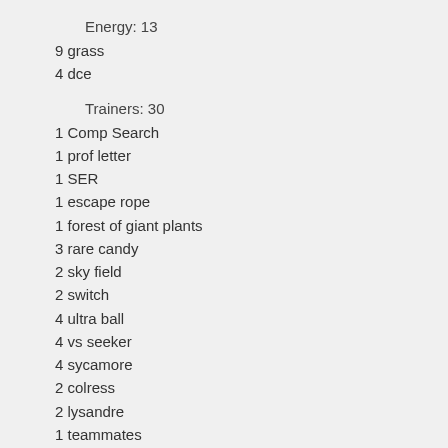Energy: 13
9 grass
4 dce
Trainers: 30
1 Comp Search
1 prof letter
1 SER
1 escape rope
1 forest of giant plants
3 rare candy
2 sky field
2 switch
4 ultra ball
4 vs seeker
4 sycamore
2 colress
2 lysandre
1 teammates
1 az